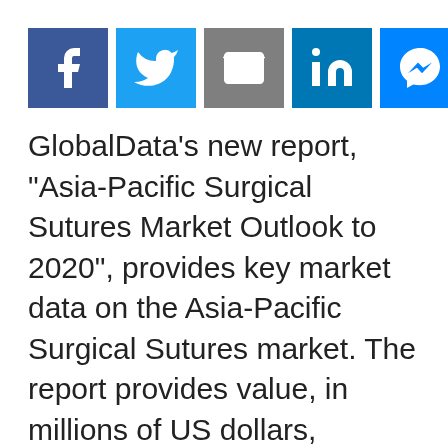[Figure (infographic): Social media sharing buttons row: Facebook (blue), Twitter (light blue), Email (gray), LinkedIn (blue), Messenger (light blue), Pinterest (red), Tumblr (dark blue-gray), Reddit (orange-red), Share (green)]
GlobalData's new report, "Asia-Pacific Surgical Sutures Market Outlook to 2020", provides key market data on the Asia-Pacific Surgical Sutures market. The report provides value, in millions of US dollars, volume (in units) and average prices (in US dollars) within market segments - Automated Suturing Devices (Reusable and Disposable Automated Suturing Devices) and Sutures (Absorbable and .Non-Absorbable Sutures).
The report also provides company shares and distribution shares data for each of these market categories, and global corporate level profiles of the